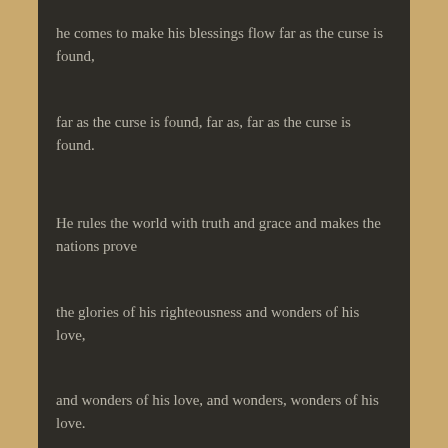he comes to make his blessings flow far as the curse is found,
far as the curse is found, far as, far as the curse is found.
He rules the world with truth and grace and makes the nations prove
the glories of his righteousness and wonders of his love,
and wonders of his love, and wonders, wonders of his love.
DISMISSAL
P: Abide in peace. Share the joy of Christ with all people.